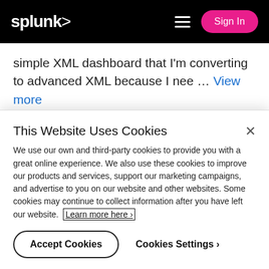splunk> Sign In
simple XML dashboard that I'm converting to advanced XML because I nee ... View more
Tags: advanced-xml  saved-search  sideview-utils  splunk-enterprise
Re: Formatting axis lables on a time based
This Website Uses Cookies
We use our own and third-party cookies to provide you with a great online experience. We also use these cookies to improve our products and services, support our marketing campaigns, and advertise to you on our website and other websites. Some cookies may continue to collect information after you have left our website. Learn more here
Accept Cookies   Cookies Settings ›